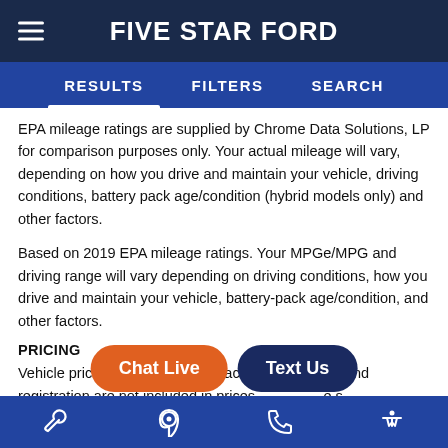FIVE STAR FORD
RESULTS   FILTERS   SEARCH
EPA mileage ratings are supplied by Chrome Data Solutions, LP for comparison purposes only. Your actual mileage will vary, depending on how you drive and maintain your vehicle, driving conditions, battery pack age/condition (hybrid models only) and other factors.
Based on 2019 EPA mileage ratings. Your MPGe/MPG and driving range will vary depending on driving conditions, how you drive and maintain your vehicle, battery-pack age/condition, and other factors.
PRICING
Vehicle pricing is believed to be accurate. Tax, title and registration are not included in prices s... Manufacturer incentives ma... and are s...